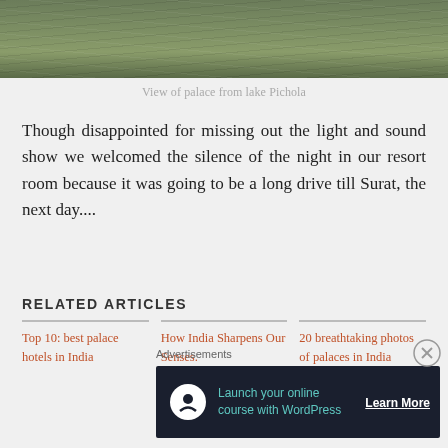[Figure (photo): View of water surface (lake Pichola) with ripple textures, greenish-grey tones]
View of palace from lake Pichola
Though disappointed for missing out the light and sound show we welcomed the silence of the night in our resort room because it was going to be a long drive till Surat, the next day....
RELATED ARTICLES
Top 10: best palace hotels in India
How India Sharpens Our Senses.
20 breathtaking photos of palaces in India
Advertisements
[Figure (infographic): Advertisement banner: Launch your online course with WordPress — Learn More]